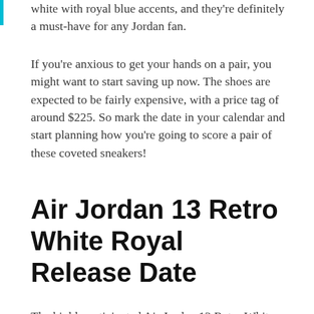white with royal blue accents, and they're definitely a must-have for any Jordan fan.
If you're anxious to get your hands on a pair, you might want to start saving up now. The shoes are expected to be fairly expensive, with a price tag of around $225. So mark the date in your calendar and start planning how you're going to score a pair of these coveted sneakers!
Air Jordan 13 Retro White Royal Release Date
The highly anticipated Air Jordan 13 Retro White Royal will finally be hitting shelves this October! According to reports, the sneakers will be released on October 13th, 2013. The Air Jordan 13 White Royal was first introduced in 2003.